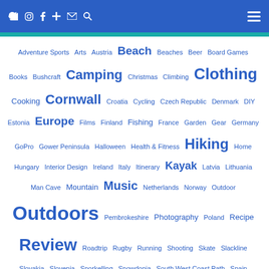Navigation header with social icons and hamburger menu
Adventure Sports Arts Austria Beach Beaches Beer Board Games Books Bushcraft Camping Christmas Climbing Clothing Cooking Cornwall Croatia Cycling Czech Republic Denmark DIY Estonia Europe Films Finland Fishing France Garden Gear Germany GoPro Gower Peninsula Halloween Health & Fitness Hiking Home Hungary Interior Design Ireland Italy Itinerary Kayak Latvia Lithuania Man Cave Mountain Music Netherlands Norway Outdoor Outdoors Pembrokeshire Photography Poland Recipe Review Roadtrip Rugby Running Shooting Skate Slackline Slovakia Slovenia Snorkelling Snowdonia South West Coast Path Spain Spearfishing Sports Style Summer SUP Surfing Sweden Technology Travel Vietnam VW Transporter T4 Wales water Wildlife Winter Youtube
[Figure (logo): SunGod logo with four-petal flower icon in blue and SunGod wordmark in blue script]